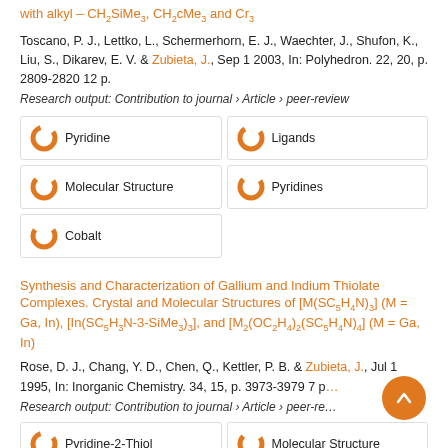with alkyl – CH2SiMe3, CH2cMe3 and Cr3
Toscano, P. J., Lettko, L., Schermerhorn, E. J., Waechter, J., Shufon, K., Liu, S., Dikarev, E. V. & Zubieta, J., Sep 1 2003, In: Polyhedron. 22, 20, p. 2809-2820 12 p.
Research output: Contribution to journal › Article › peer-review
Pyridine
Ligands
Molecular Structure
Pyridines
Cobalt
Synthesis and Characterization of Gallium and Indium Thiolate Complexes. Crystal and Molecular Structures of [M(SC5H4N)3] (M = Ga, In), [In(SC5H3N-3-SiMe3)3], and [M2(OC2H4)2(SC5H4N)4] (M = Ga, In)
Rose, D. J., Chang, Y. D., Chen, Q., Kettler, P. B. & Zubieta, J., Jul 1 1995, In: Inorganic Chemistry. 34, 15, p. 3973-3979 7 p.
Research output: Contribution to journal › Article › peer-review
Pyridine-2-Thiol
Molecular Structure